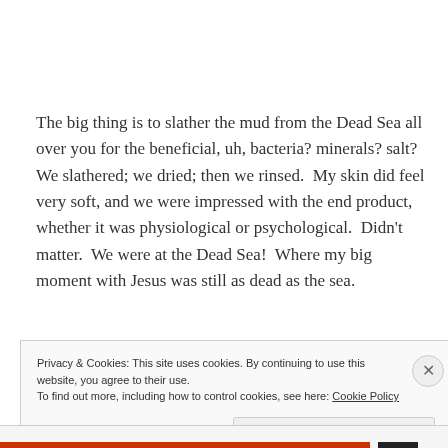The big thing is to slather the mud from the Dead Sea all over you for the beneficial, uh, bacteria? minerals? salt?  We slathered; we dried; then we rinsed.  My skin did feel very soft, and we were impressed with the end product, whether it was physiological or psychological.  Didn't matter.  We were at the Dead Sea!  Where my big moment with Jesus was still as dead as the sea.
Privacy & Cookies: This site uses cookies. By continuing to use this website, you agree to their use.
To find out more, including how to control cookies, see here: Cookie Policy
Close and accept